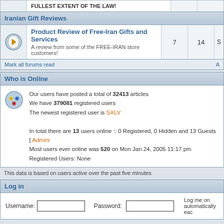FULLEST EXTENT OF THE LAW!
Iranian Gift Reviews
Product Review of Free-Iran Gifts and Services
A review from some of the FREE-IRAN store customers!
7  14  S
Mark all forums read
Who is Online
Our users have posted a total of 32413 articles
We have 379081 registered users
The newest registered user is SXLV
In total there are 13 users online :: 0 Registered, 0 Hidden and 13 Guests  [ Admini
Most users ever online was 520 on Mon Jan 24, 2005 11:17 pm
Registered Users: None
This data is based on users active over the past five minutes
Log in
Username:  Password:  Log me on automatically eac
New posts   No new posts   Forum is lo
Powered by phpBB © 2001, 2005 phpBB Group